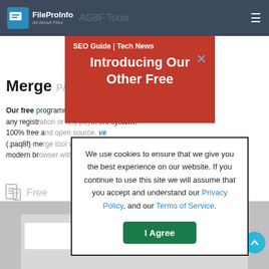FileProInfo All About Files — navigation bar with hamburger menu
[Figure (screenshot): Red advertisement banner overlay with text 'SEO Guide | Tech News' and 'Introducing Our Other Free' with a close X button]
Merge
Our free p... t required any registr... tem, 100% free a... ve (.paq8f) me... n a modern br... ox.
Free...
[Figure (screenshot): Grey tool area with file upload interface boxes]
[Figure (screenshot): Cookie consent modal dialog: 'We use cookies to ensure that we give you the best experience on our website. If you continue to use this site we will assume that you accept and understand our Privacy Policy, and our Terms of Service.' with 'I Agree' button]